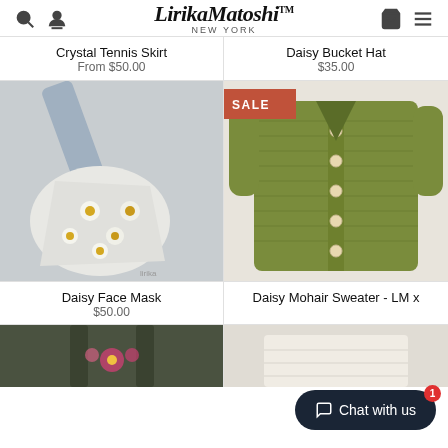LirikaMatoshi™ NEW YORK
Crystal Tennis Skirt
From $50.00
Daisy Bucket Hat
$35.00
[Figure (photo): White fabric bag/skirt with embroidered daisy flowers]
[Figure (photo): Green knit cardigan sweater with buttons and SALE badge]
Daisy Face Mask
$50.00
Daisy Mohair Sweater - LM x
[Figure (photo): Dark olive tank top with floral embroidery, partially visible]
[Figure (photo): White/cream item partially visible at bottom right]